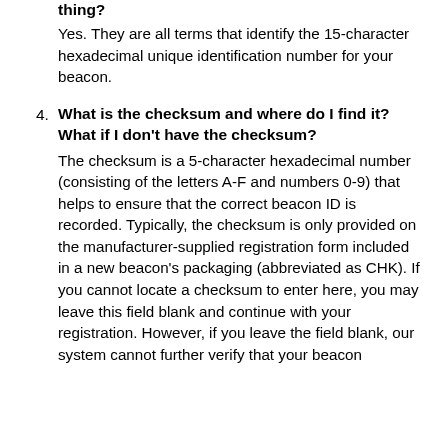thing?
Yes. They are all terms that identify the 15-character hexadecimal unique identification number for your beacon.
4. What is the checksum and where do I find it? What if I don't have the checksum?
The checksum is a 5-character hexadecimal number (consisting of the letters A-F and numbers 0-9) that helps to ensure that the correct beacon ID is recorded. Typically, the checksum is only provided on the manufacturer-supplied registration form included in a new beacon's packaging (abbreviated as CHK). If you cannot locate a checksum to enter here, you may leave this field blank and continue with your registration. However, if you leave the field blank, our system cannot further verify that your beacon